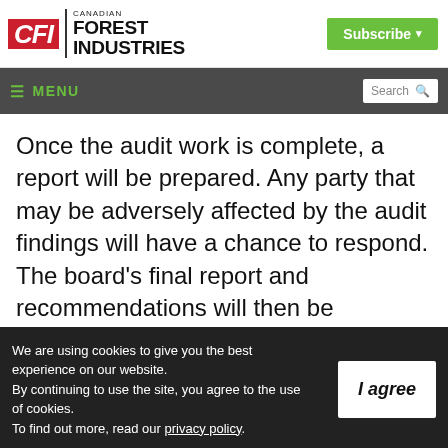[Figure (logo): Canadian Forest Industries (CFI) logo with red CFI box and black text reading CANADIAN FOREST INDUSTRIES]
[Figure (other): Green Subscribe button with dropdown arrow in top right of header]
≡ MENU   Search
Once the audit work is complete, a report will be prepared. Any party that may be adversely affected by the audit findings will have a chance to respond. The board's final report and recommendations will then be released to the public and government.
We are using cookies to give you the best experience on our website. By continuing to use the site, you agree to the use of cookies. To find out more, read our privacy policy.